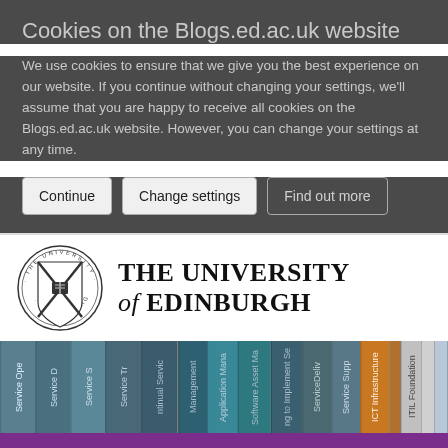Cookies on the Blogs.ed.ac.uk website
We use cookies to ensure that we give you the best experience on our website. If you continue without changing your settings, we'll assume that you are happy to receive all cookies on the Blogs.ed.ac.uk website. However, you can change your settings at any time.
Continue | Change settings | Find out more
[Figure (logo): The University of Edinburgh crest/seal logo]
THE UNIVERSITY of EDINBURGH
[Figure (photo): Row of ITIL book spines including Service Operations, Service Design, Service Transition, Continual Service, Application Management, Software Asset Management, ITIL view, Service Delivery, Service Support, ICT Infrastructure, ITIL Foundation]
ITIL TATTLE
Blog posts on ITIL and ITSM news and best practice